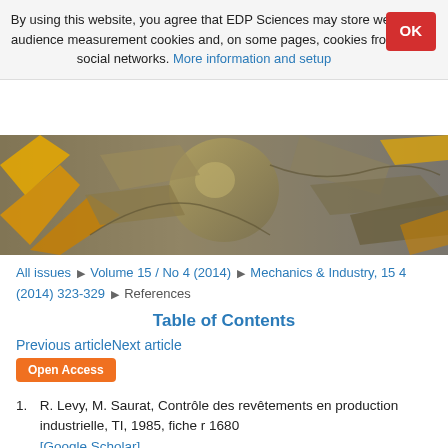By using this website, you agree that EDP Sciences may store web audience measurement cookies and, on some pages, cookies from social networks. More information and setup
[Figure (illustration): Hero banner image of a turbine/mechanical component rendered in yellow/gold and grey tones]
All issues ▶ Volume 15 / No 4 (2014) ▶ Mechanics & Industry, 15 4 (2014) 323-329 ▶ References
Table of Contents
Previous articleNext article
Open Access
1. R. Levy, M. Saurat, Contrôle des revêtements en production industrielle, TI, 1985, fiche r 1680 [Google Scholar]